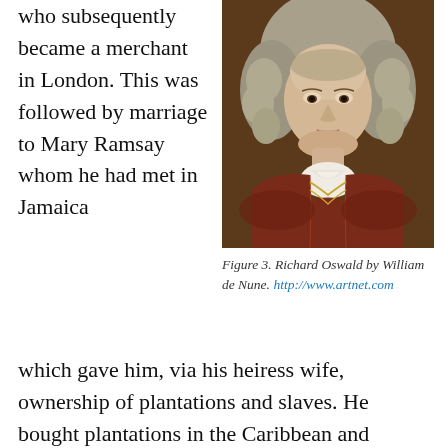who subsequently became a merchant in London. This was followed by marriage to Mary Ramsay whom he had met in Jamaica
[Figure (photo): Portrait painting of Richard Oswald by William de Nune, showing a man in 18th century dress with a powdered wig, wearing a dark red/brown coat with white lace cravat.]
Figure 3. Richard Oswald by William de Nune. http://www.artnet.com
which gave him, via his heiress wife, ownership of plantations and slaves. He bought plantations in the Caribbean and Florida, and two large estates at home, Auchincruive in Ayrshire and Cavens in Kirkcudbright and Dumfriesshire. Two other notable events were the first, of which was the addition of